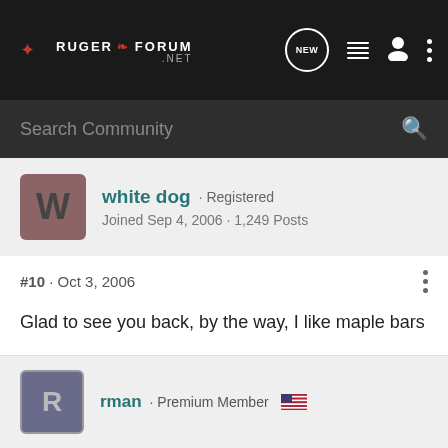Ruger Forum .net
Search Community
white dog · Registered
Joined Sep 4, 2006 · 1,249 Posts
#10 · Oct 3, 2006
Glad to see you back, by the way, I like maple bars
rman · Premium Member